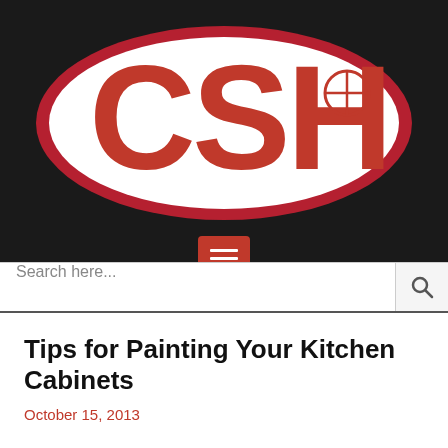[Figure (logo): CSH logo — white oval with red border and large red 'CSH' text with a registered trademark circle symbol, on a dark background]
[Figure (other): Red square menu/hamburger button icon with three white horizontal bars]
Search here...
Tips for Painting Your Kitchen Cabinets
October 15, 2013